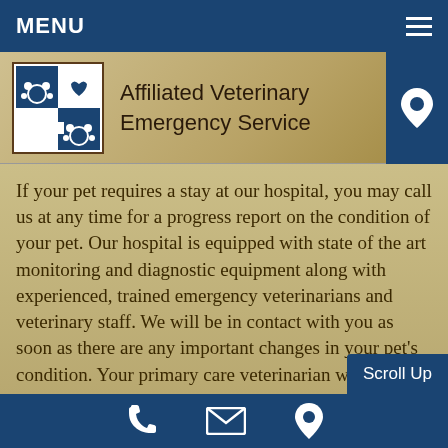MENU
Affiliated Veterinary Emergency Service
If your pet requires a stay at our hospital, you may call us at any time for a progress report on the condition of your pet. Our hospital is equipped with state of the art monitoring and diagnostic equipment along with experienced, trained emergency veterinarians and veterinary staff. We will be in contact with you as soon as there are any important changes in your pet's condition. Your primary care veterinarian will be kept up to date with your pet's treatment plan and continued progress.